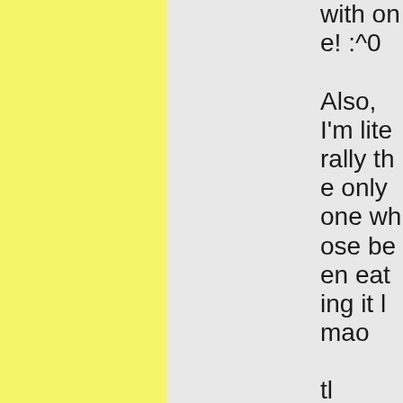with one! :^0

Also, I'm literally the only one whose been eating it lmao

tl